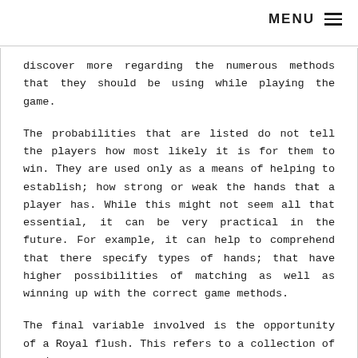MENU
discover more regarding the numerous methods that they should be using while playing the game.
The probabilities that are listed do not tell the players how most likely it is for them to win. They are used only as a means of helping to establish; how strong or weak the hands that a player has. While this might not seem all that essential, it can be very practical in the future. For example, it can help to comprehend that there specify types of hands; that have higher possibilities of matching as well as winning up with the correct game methods.
The final variable involved is the opportunity of a Royal flush. This refers to a collection of cards